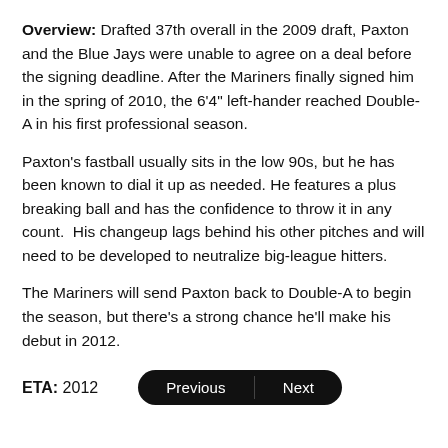Overview: Drafted 37th overall in the 2009 draft, Paxton and the Blue Jays were unable to agree on a deal before the signing deadline. After the Mariners finally signed him in the spring of 2010, the 6'4" left-hander reached Double-A in his first professional season.
Paxton's fastball usually sits in the low 90s, but he has been known to dial it up as needed. He features a plus breaking ball and has the confidence to throw it in any count.  His changeup lags behind his other pitches and will need to be developed to neutralize big-league hitters.
The Mariners will send Paxton back to Double-A to begin the season, but there's a strong chance he'll make his debut in 2012.
ETA: 2012